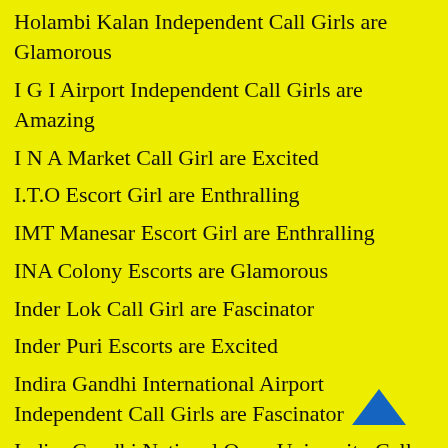Holambi Kalan Independent Call Girls are Glamorous
I G I Airport Independent Call Girls are Amazing
I N A Market Call Girl are Excited
I.T.O Escort Girl are Enthralling
IMT Manesar Escort Girl are Enthralling
INA Colony Escorts are Glamorous
Inder Lok Call Girl are Fascinator
Inder Puri Escorts are Excited
Indira Gandhi International Airport Independent Call Girls are Fascinator
Indira Gandhi National Open University Call Girls are Amazing
Indira Park Call Girls are Amazing
IndiraPuram Escorts are Enthralling